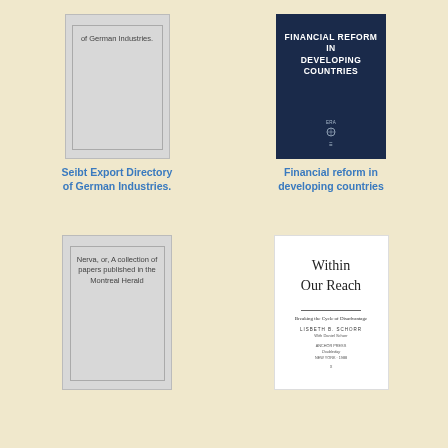[Figure (illustration): Book cover: gray cover with inner border frame, text 'Seibt Export Directory of German Industries.' at the top]
Seibt Export Directory of German Industries.
[Figure (illustration): Book cover: dark navy blue cover with white bold uppercase text 'FINANCIAL REFORM IN DEVELOPING COUNTRIES' and small logo at bottom]
Financial reform in developing countries
[Figure (illustration): Book cover: gray cover with inner border frame, text 'Nerva, or, A collection of papers published in the Montreal Herald' at top]
[Figure (illustration): Book cover: white cover with serif text 'Within Our Reach', subtitle 'Breaking the Cycle of Disadvantage', author 'LISBETH B. SCHORR With Daniel Schorr', publisher info at bottom]